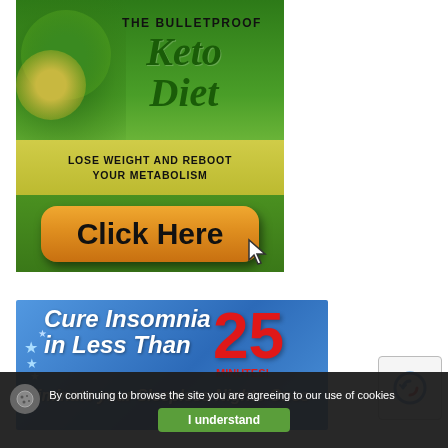[Figure (infographic): The Bulletproof Keto Diet advertisement banner showing keto foods, title text 'THE BULLETPROOF Keto Diet', subtitle 'LOSE WEIGHT AND REBOOT YOUR METABOLISM', and an orange 'Click Here' button with cursor]
[Figure (infographic): Cure Insomnia advertisement banner with blue background, white italic text 'Cure Insomnia in Less Than', large red '25 MINUTES!', and italic text 'Eliminate your Sleepless Nights Once']
By continuing to browse the site you are agreeing to our use of cookies
I understand